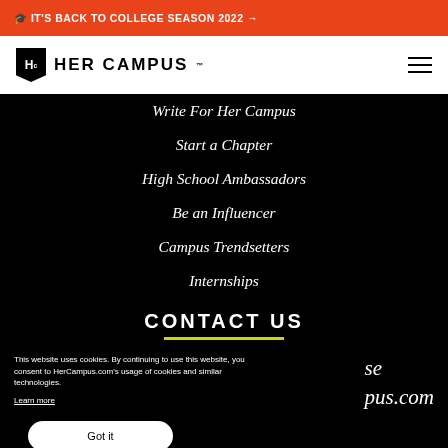🎓 IT'S BACK TO COLLEGE SEASON 2022 →
[Figure (logo): Her Campus logo with HC monogram in black box and HER CAMPUS text]
Write For Her Campus
Start a Chapter
High School Ambassadors
Be an Influencer
Campus Trendsetters
Internships
CONTACT US
This website uses cookies. By continuing to use this website, you consent to HerCampus.com's usage of cookies and similar technologies. Learn more
se
pus.com